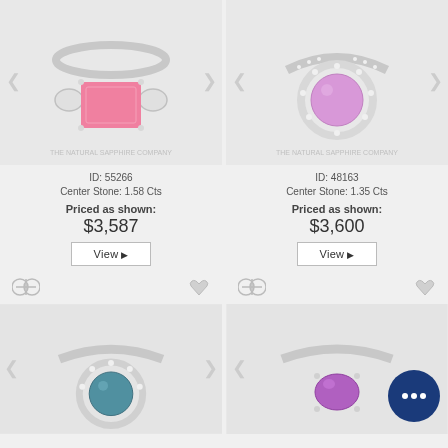[Figure (photo): Pink emerald-cut sapphire ring with diamond side stones in white gold, The Natural Sapphire Company watermark]
[Figure (photo): Pink round sapphire halo ring with diamond pave band in white gold, The Natural Sapphire Company watermark]
ID: 55266
Center Stone: 1.58 Cts
ID: 48163
Center Stone: 1.35 Cts
Priced as shown:
Priced as shown:
$3,587
$3,600
View ▶
View ▶
[Figure (photo): Teal/blue-green round sapphire halo ring in white gold]
[Figure (photo): Purple/violet oval sapphire solitaire ring in white gold with chat bubble overlay]